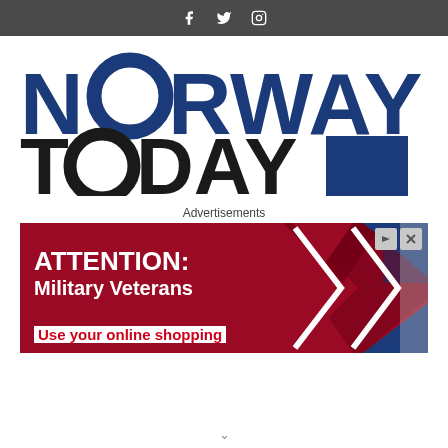Social media icons: Facebook, Twitter, Instagram
[Figure (logo): Norway Today logo — NORWAY in bold blue with circular O, TODAY in bold black with circular O and blue square]
Advertisements
[Figure (photo): Advertisement banner: dark red background with ATTENTION: Military Veterans text in white, Use your online shopping in red text on white, X-shaped graphic in blue and red on right side, TM mark, play/close buttons top right]